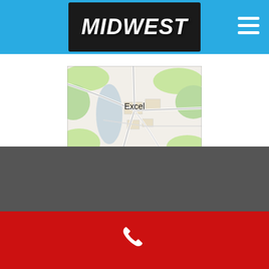MIDWEST
[Figure (map): Street map showing the town of Excel with roads and surrounding green areas]
Phone contact footer bar